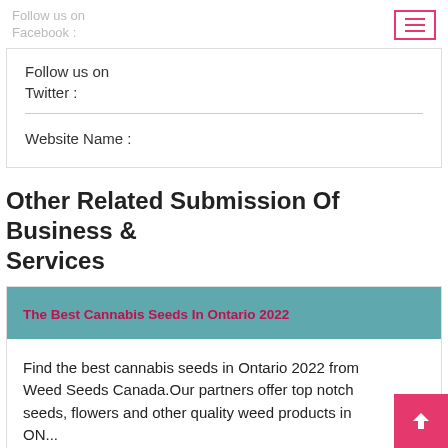Follow us on Facebook :
Follow us on Twitter :
Website Name :
Other Related Submission Of Business & Services
The Best Cannabis Seeds In Ontario 2022
Find the best cannabis seeds in Ontario 2022 from Weed Seeds Canada.Our partners offer top notch seeds, flowers and other quality weed products in ON...